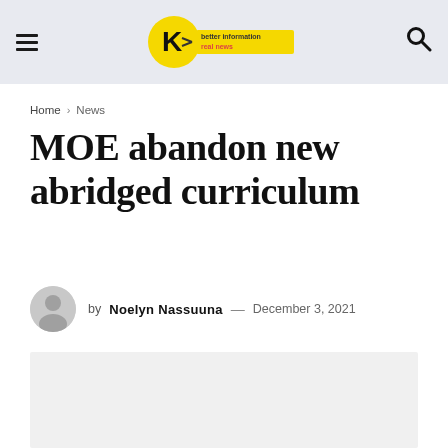≡  [Knewz logo: better information real news]  🔍
Home › News
MOE abandon new abridged curriculum
by Noelyn Nassuuna — December 3, 2021
[Figure (photo): Article featured image placeholder — light gray rectangle]